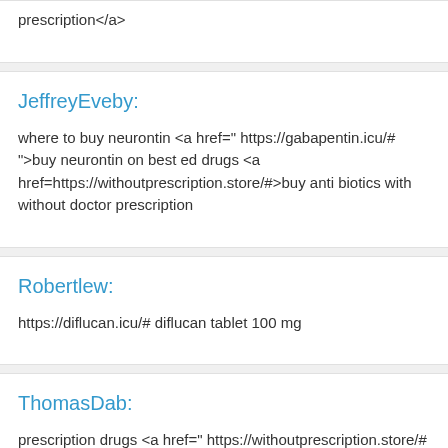prescription</a>
JeffreyEveby:
where to buy neurontin <a href=" https://gabapentin.icu/# ">buy neurontin on best ed drugs <a href=https://withoutprescription.store/#>buy anti biotics with without doctor prescription
Robertlew:
https://diflucan.icu/# diflucan tablet 100 mg
ThomasDab:
prescription drugs <a href=" https://withoutprescription.store/# ">canadian dr